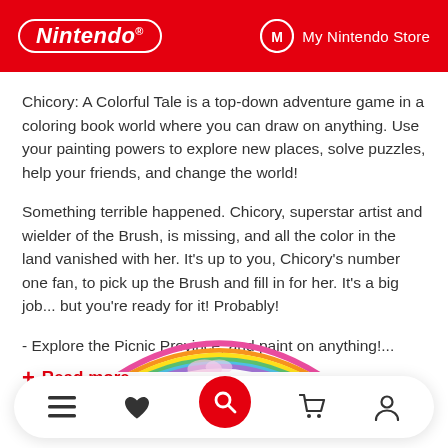Nintendo | My Nintendo Store
Chicory: A Colorful Tale is a top-down adventure game in a coloring book world where you can draw on anything. Use your painting powers to explore new places, solve puzzles, help your friends, and change the world!
Something terrible happened. Chicory, superstar artist and wielder of the Brush, is missing, and all the color in the land vanished with her. It’s up to you, Chicory’s number one fan, to pick up the Brush and fill in for her. It’s a big job... but you’re ready for it! Probably!
- Explore the Picnic Province, and paint on anything!...
+ Read more